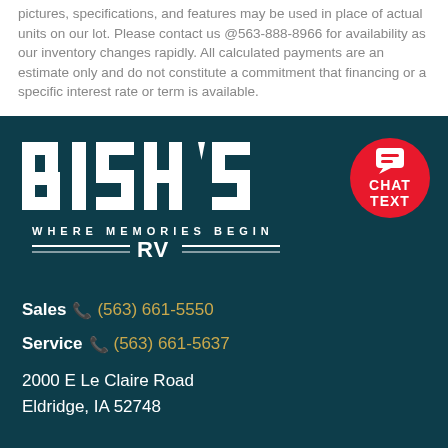pictures, specifications, and features may be used in place of actual units on our lot. Please contact us @563-888-8966 for availability as our inventory changes rapidly. All calculated payments are an estimate only and do not constitute a commitment that financing or a specific interest rate or term is available.
[Figure (logo): Bish's RV logo — white text on dark teal background. Large 'BISH'S' wordmark with 'WHERE MEMORIES BEGIN' subtitle and 'RV' below with decorative lines. Red circle chat/text button in upper right.]
Sales (563) 661-5550
Service (563) 661-5637
2000 E Le Claire Road
Eldridge, IA 52748